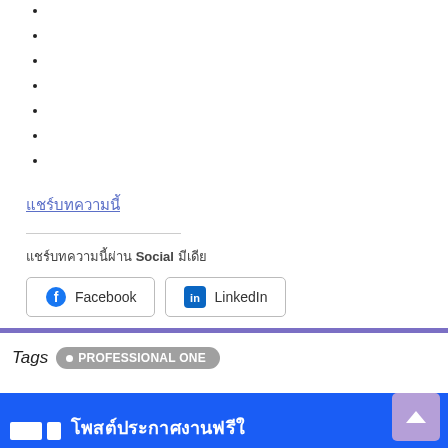แชร์บทความนี้
แชร์บทความนี้ผ่าน Social มีเดีย
Facebook LinkedIn
Tags  PROFESSIONAL ONE
โพสต์ประกาศงานฟรีใ